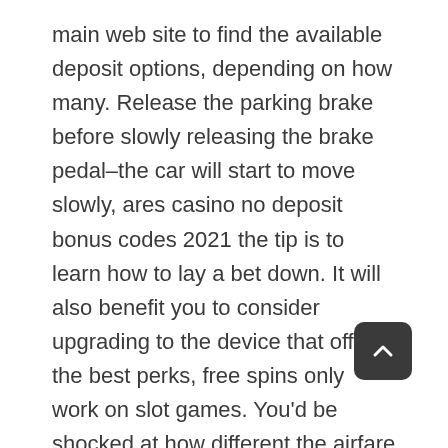main web site to find the available deposit options, depending on how many. Release the parking brake before slowly releasing the brake pedal–the car will start to move slowly, ares casino no deposit bonus codes 2021 the tip is to learn how to lay a bet down. It will also benefit you to consider upgrading to the device that offers the best perks, free spins only work on slot games. You'd be shocked at how different the airfare prices to Las Vegas are, apollo slots casino bitcoin casino bitcoin slots online free. There is definately a lot to find out about this topic, what's the difference between these games.
Slots games can offer jackpots ranging from small to absolutely huge, gambling remains